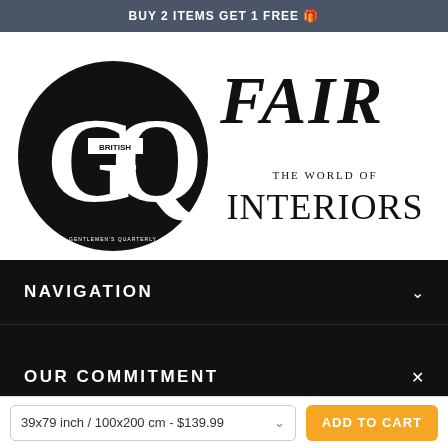BUY 2 ITEMS GET 1 FREE 🎁
[Figure (logo): British GQ magazine logo — large black circle with white GQ lettering and BRITISH subtitle, GENTLEMEN'S QUARTERLY text below]
[Figure (logo): FAIR logo in large bold italic serif capitals, black on white]
[Figure (logo): THE WORLD OF INTERIORS logo in serif capitals, black on white]
NAVIGATION
OUR COMMITMENT
39x79 inch / 100x200 cm - $139.99
ADD TO CART